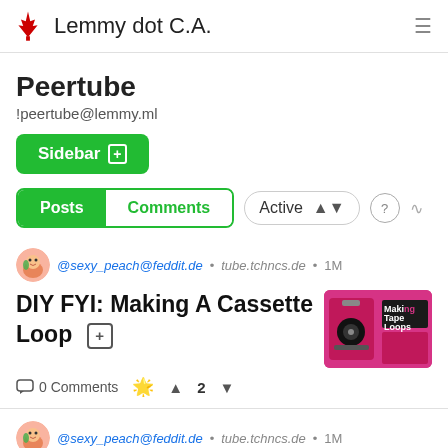Lemmy dot C.A.
Peertube
!peertube@lemmy.ml
Sidebar +
Posts  Comments  Active
@sexy_peach@feddit.de • tube.tchncs.de • 1M
DIY FYI: Making A Cassette Loop
[Figure (photo): Thumbnail image showing cassette tape making materials on a pink background with text 'Making Tape Loops']
0 Comments  ☆  ↑ 2 ↓
@sexy_peach@feddit.de • tube.tchncs.de • 1M